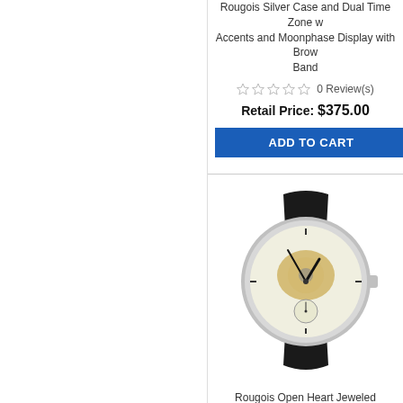Rougois Silver Case and Dual Time Zone with Accents and Moonphase Display with Brown Band
0 Review(s)
Retail Price: $375.00
ADD TO CART
[Figure (photo): Rougois open heart skeleton watch with silver case and black leather band, showing visible movement through dial]
Rougois Open Heart Jeweled Movement S Watch
0 Review(s)
Retail Price: $330.00
ADD TO CART